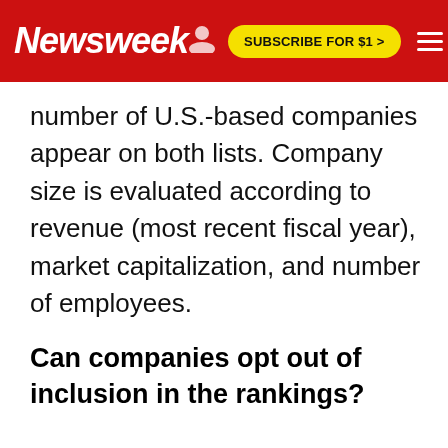Newsweek | SUBSCRIBE FOR $1 >
number of U.S.-based companies appear on both lists. Company size is evaluated according to revenue (most recent fiscal year), market capitalization, and number of employees.
Can companies opt out of inclusion in the rankings?